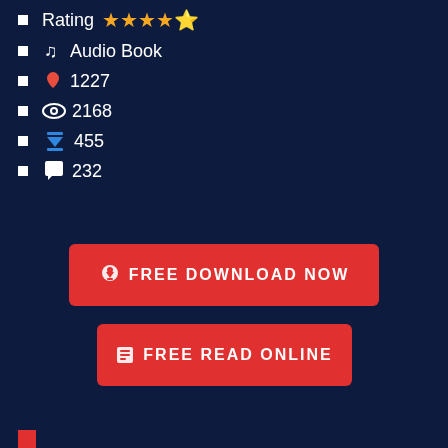Rating ★★★★½
🎵 Audio Book
❤ 1227
👁 2168
⬇ 455
💬 232
[Figure (other): Red button with cloud download icon and text FREE DOWNLOAD NOW]
[Figure (other): Red button with book icon and text FREE READ ONLINE]